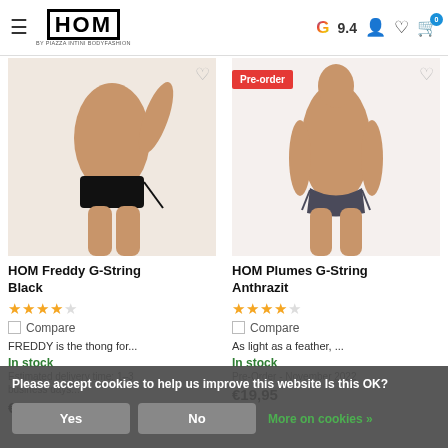HOM by PIAZZA INTINI BODYFASHION — Google 9.4 rating, user icon, wishlist icon, cart (0)
[Figure (photo): Side view of male model wearing HOM Freddy G-String Black underwear against light background]
[Figure (photo): Front view of male model wearing HOM Plumes G-String Anthrazit underwear against white background, with Pre-order badge]
HOM Freddy G-String Black
★★★★★
Compare
FREDDY is the thong for...
In stock
Estimated delivery time: business days...
€19,95
HOM Plumes G-String Anthrazit
★★★★★
Compare
As light as a feather, ...
In stock
Pre-Order - November 2022
€19,95
Please accept cookies to help us improve this website Is this OK?
Yes | No | More on cookies »